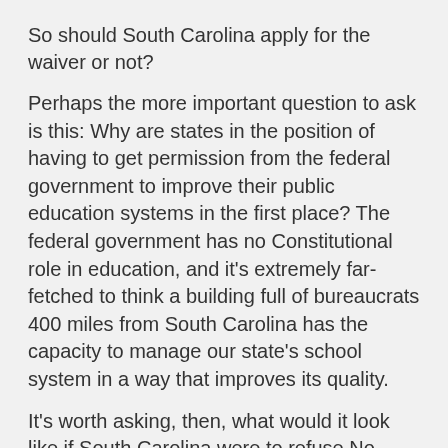So should South Carolina apply for the waiver or not?
Perhaps the more important question to ask is this: Why are states in the position of having to get permission from the federal government to improve their public education systems in the first place? The federal government has no Constitutional role in education, and it's extremely far-fetched to think a building full of bureaucrats 400 miles from South Carolina has the capacity to manage our state's school system in a way that improves its quality.
It's worth asking, then, what would it look like if South Carolina were to refuse No Child Left Behind Funds altogether?
South Carolina could decide what to teach and how to teach it.